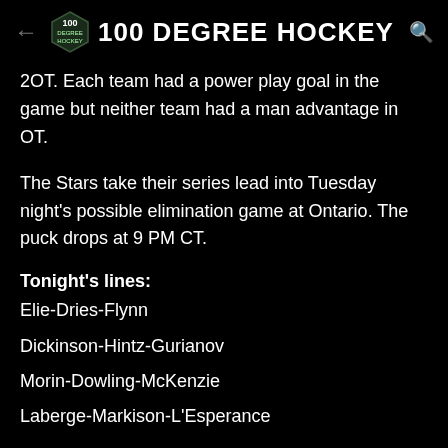100 DEGREE HOCKEY
2OT. Each team had a power play goal in the game but neither team had a man advantage in OT.
The Stars take their series lead into Tuesday night's possible elimination game at Ontario. The puck drops at 9 PM CT.
Tonight's lines:
Elie-Dries-Flynn
Dickinson-Hintz-Gurianov
Morin-Dowling-McKenzie
Laberge-Markison-L'Esperance